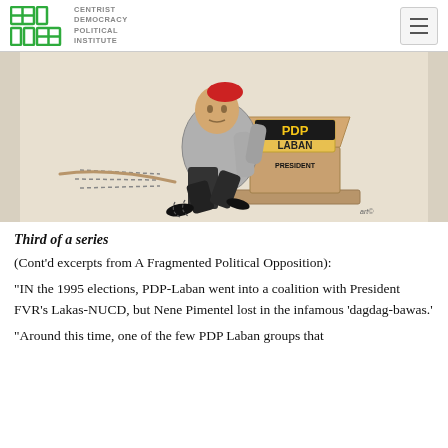Centrist Democracy Political Institute
[Figure (illustration): Editorial cartoon of a figure in a suit clinging to a podium labeled 'PDP-Laban President', with motion lines suggesting struggling or being dragged away.]
Third of a series
(Cont'd excerpts from A Fragmented Political Opposition):
"IN the 1995 elections, PDP-Laban went into a coalition with President FVR's Lakas-NUCD, but Nene Pimentel lost in the infamous 'dagdag-bawas.'
"Around this time, one of the few PDP Laban groups that